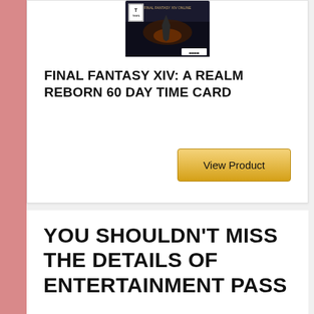[Figure (photo): Final Fantasy XIV: A Realm Reborn game box cover art screenshot]
FINAL FANTASY XIV: A REALM REBORN 60 DAY TIME CARD
View Product
YOU SHOULDN'T MISS THE DETAILS OF ENTERTAINMENT PASS